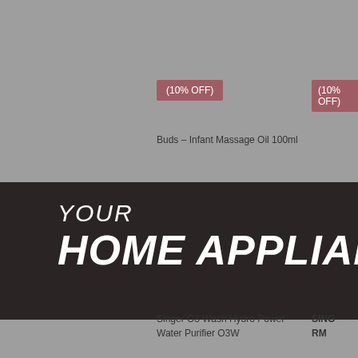(10% OFF)
(10% OFF)
Buds - Infant Massage Oil 100ml
[Figure (screenshot): E-commerce website screenshot showing a home appliance section banner with 'YOUR HOME APPLIANCE' text on dark background, product cards with discount badges, and a HELP button]
YOUR
HOME APPLIANCE
HELP >
Singer O3 Wash Hydro Power Water Purifier O3W
RM